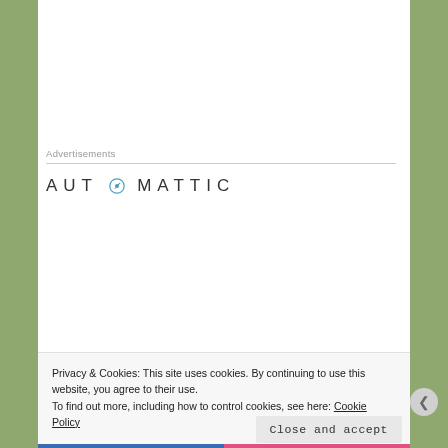Advertisements
[Figure (logo): Automattic logo with circular compass icon, uppercase spaced lettering]
[Figure (illustration): Automattic job advertisement: 'Build a better web and a better world.' with Apply button and circular photo of a person]
Privacy & Cookies: This site uses cookies. By continuing to use this website, you agree to their use.
To find out more, including how to control cookies, see here: Cookie Policy
Close and accept